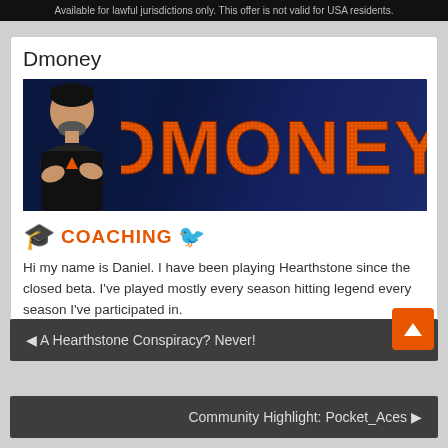Available for lawful jurisdictions only. This offer is not valid for USA residents.
Dmoney
[Figure (photo): Banner image showing a man with arms crossed next to large orange textured letters spelling DMONEY on a dark blue background]
COACHING
Hi my name is Daniel. I have been playing Hearthstone since the closed beta. I've played mostly every season hitting legend every season I've participated in.
A Hearthstone Conspiracy? Never!
Community Highlight: Pocket_Aces